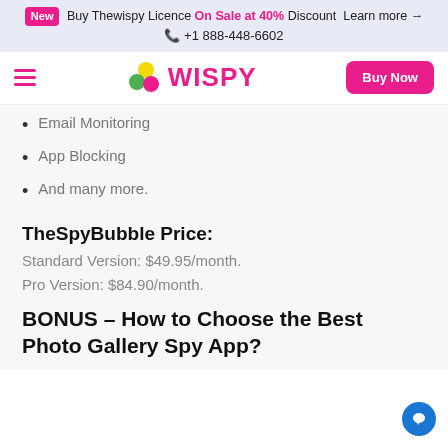New Buy Thewispy Licence On Sale at 40% Discount Learn more → +1 888-448-6602
[Figure (logo): Wispy logo with colored dots and Buy Now button in navbar]
Email Monitoring
App Blocking
And many more.
TheSpyBubble Price:
Standard Version: $49.95/month.
Pro Version: $84.90/month.
BONUS – How to Choose the Best Photo Gallery Spy App?